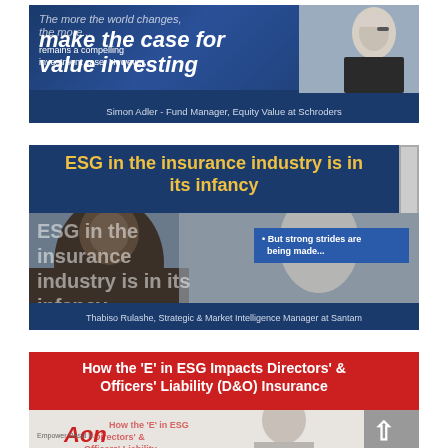[Figure (photo): Video thumbnail: 'make the case for value investing' with Simon Adler, Fund Manager, Equity Value at Schroders. Dark blue background with overlaid text and person photograph.]
[Figure (photo): Video thumbnail: 'ESG in the insurance industry is in its infancy' with Thabiso Rulashe, Strategic & Market Intelligence Manager at Santam. Blue header with gold text, image of man with glasses, text overlay 'But strong strides are being made...']
[Figure (photo): Video thumbnail: 'How the E in ESG Impacts Directors & Officers Liability (D&O) Insurance'. Red header with white bold text, Aon logo visible, woman photograph, scroll-up arrow button on right.]